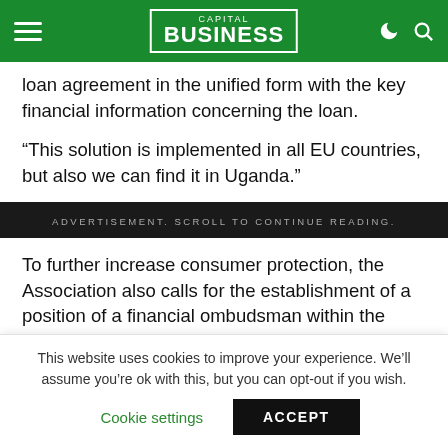CAPITAL BUSINESS
loan agreement in the unified form with the key financial information concerning the loan.
“This solution is implemented in all EU countries, but also we can find it in Uganda.”
ADVERTISEMENT. SCROLL TO CONTINUE READING.
To further increase consumer protection, the Association also calls for the establishment of a position of a financial ombudsman within the CBK structures,
This website uses cookies to improve your experience. We’ll assume you’re ok with this, but you can opt-out if you wish.